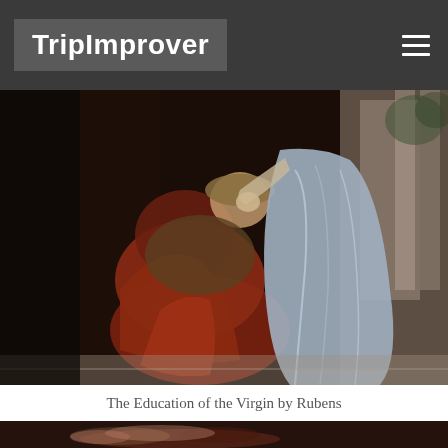TripImprover
[Figure (photo): Painting 'The Education of the Virgin by Rubens' showing a kneeling figure in red/orange garments with another figure in a blue-grey dress standing behind, classical columns in background]
The Education of the Virgin by Rubens
[Figure (photo): Partial view of another painting at the bottom of the page, showing a reclining figure]